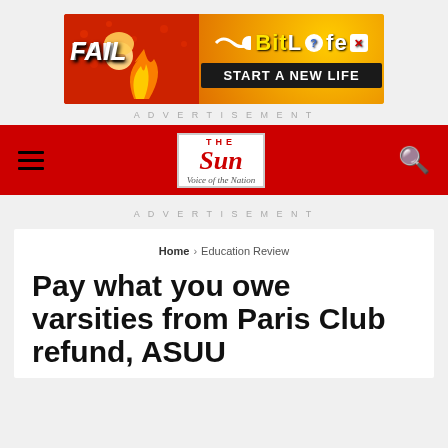[Figure (illustration): BitLife advertisement banner with FAIL text and animated character, orange and red background, 'START A NEW LIFE' tagline]
ADVERTISEMENT
[Figure (logo): The Sun newspaper logo — red masthead with 'THE Sun Voice of the Nation']
ADVERTISEMENT
Home > Education Review
Pay what you owe varsities from Paris Club refund, ASUU